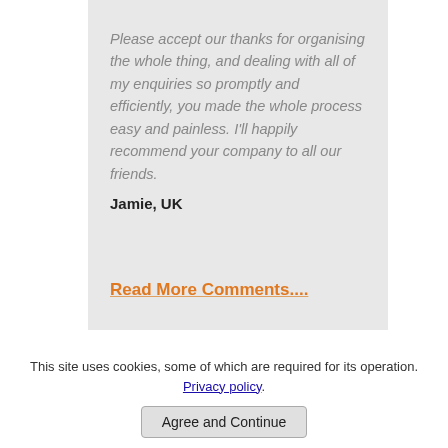Please accept our thanks for organising the whole thing, and dealing with all of my enquiries so promptly and efficiently, you made the whole process easy and painless. I'll happily recommend your company to all our friends.
Jamie, UK
Read More Comments....
This site uses cookies, some of which are required for its operation. Privacy policy.
Agree and Continue